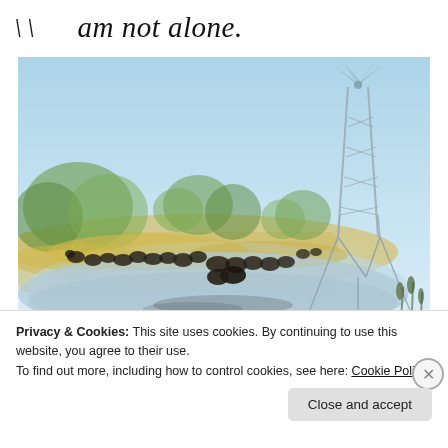am not alone.
[Figure (illustration): Watercolor painting of a pastoral scene with a herd of bison/cattle gathered near a pond or watering hole, green trees in the background, golden-tan grassy fields, and a tall metal windmill structure on the right side against a soft blue sky.]
Privacy & Cookies: This site uses cookies. By continuing to use this website, you agree to their use.
To find out more, including how to control cookies, see here: Cookie Policy
Close and accept